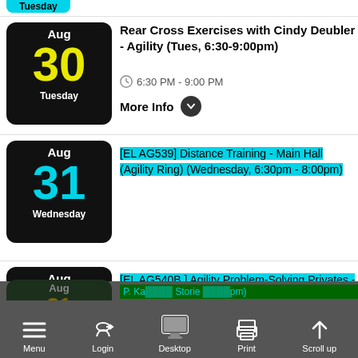Tuesday
Rear Cross Exercises with Cindy Deubler - Agility (Tues, 6:30-9:00pm)
6:30 PM - 9:00 PM
More Info
[EL AG539] Distance Training - Main Hall (Agility Ring) (Wednesday, 6:30pm - 8:00pm)
[EL AG540B ] Agility Problem-Solving Privates - Agility Ring (Weds, Between 9 am - 4:15 pm)
Menu  Login  Desktop  Print  Scroll up